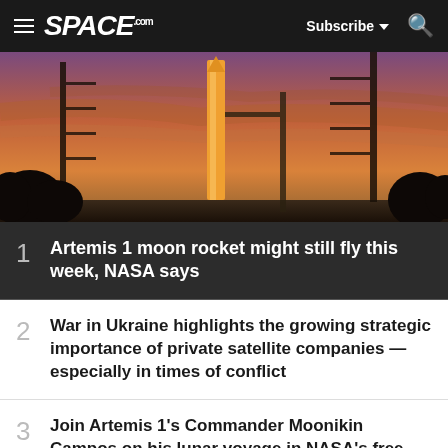SPACE.com — Subscribe — Search
[Figure (photo): NASA Artemis 1 moon rocket on launch pad at sunset with orange and purple sky, surrounded by launch tower structure and trees in silhouette]
1 Artemis 1 moon rocket might still fly this week, NASA says
2 War in Ukraine highlights the growing strategic importance of private satellite companies — especially in times of conflict
3 Join Artemis 1's Commander Moonikin Campos on his lunar voyage in NASA's free comic book